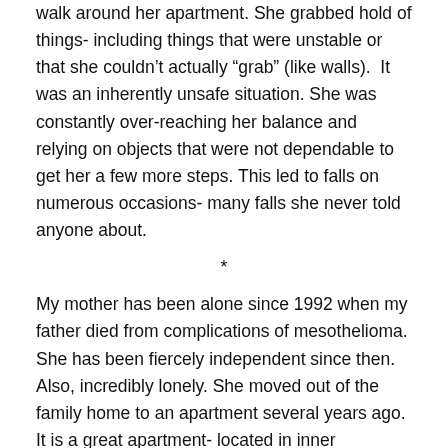walk around her apartment. She grabbed hold of things- including things that were unstable or that she couldn't actually “grab” (like walls).  It was an inherently unsafe situation. She was constantly over-reaching her balance and relying on objects that were not dependable to get her a few more steps. This led to falls on numerous occasions- many falls she never told anyone about.
*
My mother has been alone since 1992 when my father died from complications of mesothelioma. She has been fiercely independent since then. Also, incredibly lonely. She moved out of the family home to an apartment several years ago. It is a great apartment- located in inner southeast Portland off Division St. For a time she insisted on continuing to drive her car. Everyone breathed a sigh of